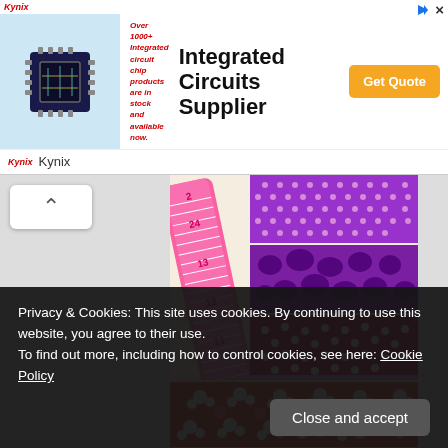[Figure (screenshot): Kynix advertisement banner for Integrated Circuits Supplier with chip image and orange Get Quote button]
Integrated Circuits Supplier
[Figure (photo): Pink and purple fabric swatches with polka dots, floral and animal print patterns, alongside a pink measuring tape and metal ring]
[Figure (photo): Red floral fabric partially visible at bottom]
Privacy & Cookies: This site uses cookies. By continuing to use this website, you agree to their use.
To find out more, including how to control cookies, see here: Cookie Policy
Close and accept